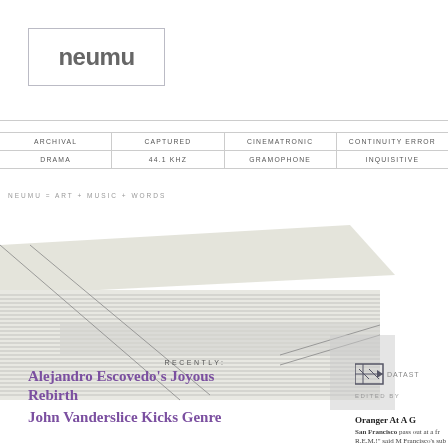neumu
ARCHIVAL
CAPTURED
CINEMATRONIC
CONTINUITY ERROR
DRAMA
44.1 KHZ
GRAMOPHONE
INQUISITIVE
NEUMU = ART + MUSIC + WORDS
[Figure (illustration): Abstract geometric/layered graphic with diagonal lines, hatching patterns, and a RECENTLY label]
RECENTLY:
Alejandro Escovedo's Joyous Rebirth
John Vanderslice Kicks Genre
Paul Duncan's Elusive Pop
[Figure (logo): Datastrom icon/badge]
EDITED BY
Oranger At A G
San Francisco pass out at a fr R.E.M.!" said M Francisco's sub Oranger.
"Bono told me continued Drak backstage at th of Def Leppard was telling Ellic as He' was t